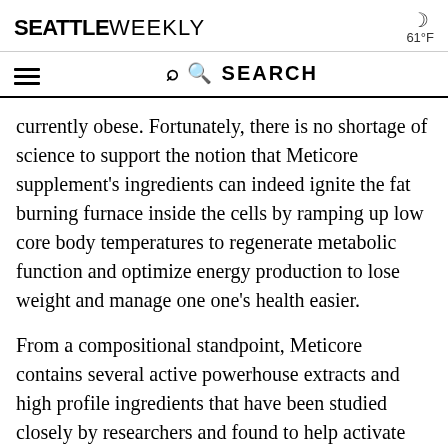SEATTLE WEEKLY | 61°F
SEARCH
currently obese. Fortunately, there is no shortage of science to support the notion that Meticore supplement's ingredients can indeed ignite the fat burning furnace inside the cells by ramping up low core body temperatures to regenerate metabolic function and optimize energy production to lose weight and manage one one's health easier.
From a compositional standpoint, Meticore contains several active powerhouse extracts and high profile ingredients that have been studied closely by researchers and found to help activate the body's core energy centers and help aging adults overcome metabolic slowdown. In essence, the Meticore weight loss diet pill can boost...